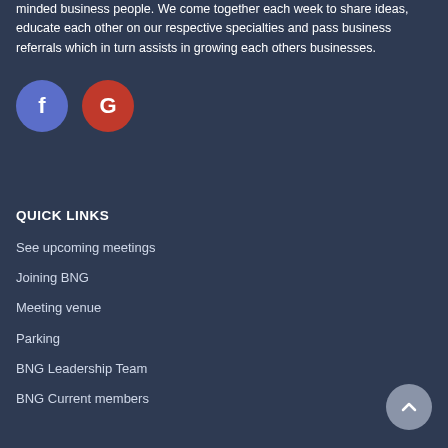minded business people. We come together each week to share ideas, educate each other on our respective specialties and pass business referrals which in turn assists in growing each others businesses.
[Figure (logo): Facebook icon (blue circle with white 'f') and Google icon (red circle with white 'G')]
QUICK LINKS
See upcoming meetings
Joining BNG
Meeting venue
Parking
BNG Leadership Team
BNG Current members